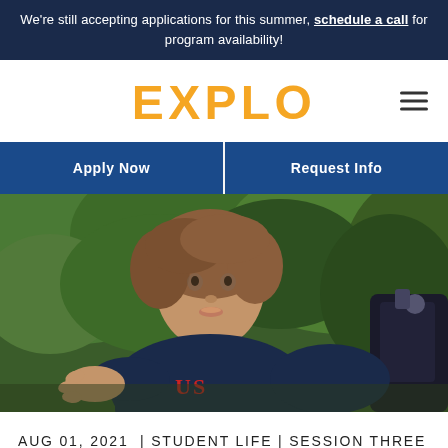We're still accepting applications for this summer, schedule a call for program availability!
EXPLO
Apply Now | Request Info
[Figure (photo): A teenage boy with brown hair wearing a navy blue T-shirt gestures with his hands while speaking, with green shrubbery in the background and a dark bag visible to the right.]
AUG 01, 2021  | STUDENT LIFE | SESSION THREE